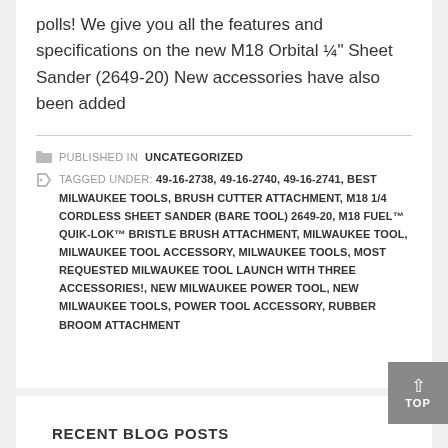polls! We give you all the features and specifications on the new M18 Orbital ¼" Sheet Sander (2649-20) New accessories have also been added
PUBLISHED IN UNCATEGORIZED
TAGGED UNDER: 49-16-2738, 49-16-2740, 49-16-2741, BEST MILWAUKEE TOOLS, BRUSH CUTTER ATTACHMENT, M18 1/4 CORDLESS SHEET SANDER (BARE TOOL) 2649-20, M18 FUEL™ QUIK-LOK™ BRISTLE BRUSH ATTACHMENT, MILWAUKEE TOOL, MILWAUKEE TOOL ACCESSORY, MILWAUKEE TOOLS, MOST REQUESTED MILWAUKEE TOOL LAUNCH WITH THREE ACCESSORIES!, NEW MILWAUKEE POWER TOOL, NEW MILWAUKEE TOOLS, POWER TOOL ACCESSORY, RUBBER BROOM ATTACHMENT
RECENT BLOG POSTS